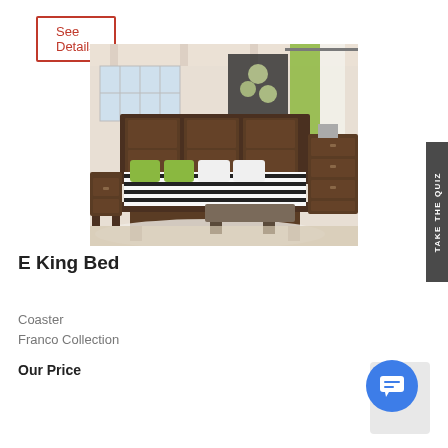See Details
[Figure (photo): A bedroom set featuring a dark wood E King Bed with striped bedding, green accent pillows and curtains, nightstands, and a bench at the foot of the bed on a light wood floor with a white rug.]
E King Bed
Coaster
Franco Collection
Our Price